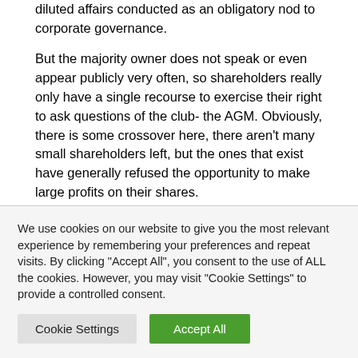diluted affairs conducted as an obligatory nod to corporate governance.
But the majority owner does not speak or even appear publicly very often, so shareholders really only have a single recourse to exercise their right to ask questions of the club- the AGM. Obviously, there is some crossover here, there aren't many small shareholders left, but the ones that exist have generally refused the opportunity to make large profits on their shares.
We use cookies on our website to give you the most relevant experience by remembering your preferences and repeat visits. By clicking "Accept All", you consent to the use of ALL the cookies. However, you may visit "Cookie Settings" to provide a controlled consent.